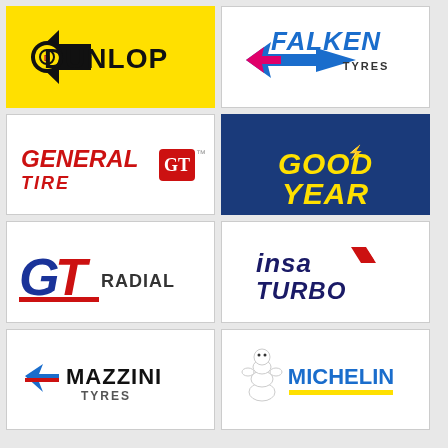[Figure (logo): Dunlop tyre brand logo on yellow background]
[Figure (logo): Falken Tyres brand logo on white background]
[Figure (logo): General Tire brand logo on white background]
[Figure (logo): Goodyear brand logo on blue background]
[Figure (logo): GT Radial brand logo on white background]
[Figure (logo): Insa Turbo brand logo on white background]
[Figure (logo): Mazzini Tyres brand logo on white background]
[Figure (logo): Michelin brand logo on white background]